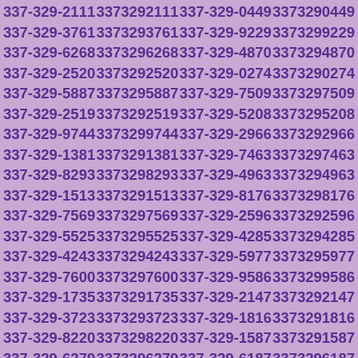| 337-329-2111 | 3373292111 | 337-329-0449 | 3373290449 |
| 337-329-3761 | 3373293761 | 337-329-9229 | 3373299229 |
| 337-329-6268 | 3373296268 | 337-329-4870 | 3373294870 |
| 337-329-2520 | 3373292520 | 337-329-0274 | 3373290274 |
| 337-329-5887 | 3373295887 | 337-329-7509 | 3373297509 |
| 337-329-2519 | 3373292519 | 337-329-5208 | 3373295208 |
| 337-329-9744 | 3373299744 | 337-329-2966 | 3373292966 |
| 337-329-1381 | 3373291381 | 337-329-7463 | 3373297463 |
| 337-329-8293 | 3373298293 | 337-329-4963 | 3373294963 |
| 337-329-1513 | 3373291513 | 337-329-8176 | 3373298176 |
| 337-329-7569 | 3373297569 | 337-329-2596 | 3373292596 |
| 337-329-5525 | 3373295525 | 337-329-4285 | 3373294285 |
| 337-329-4243 | 3373294243 | 337-329-5977 | 3373295977 |
| 337-329-7600 | 3373297600 | 337-329-9586 | 3373299586 |
| 337-329-1735 | 3373291735 | 337-329-2147 | 3373292147 |
| 337-329-3723 | 3373293723 | 337-329-1816 | 3373291816 |
| 337-329-8220 | 3373298220 | 337-329-1587 | 3373291587 |
| 337-329-6279 | 3373296279 | 337-329-6187 | 3373296187 |
| 337-329-0704 | 3373290704 | 337-329-4177 | 3373294177 |
| 337-329-2912 | 3373292912 | 337-329-4091 | 3373294091 |
| 337-329-7694 | 3373297694 | 337-329-0777 | 3373290777 |